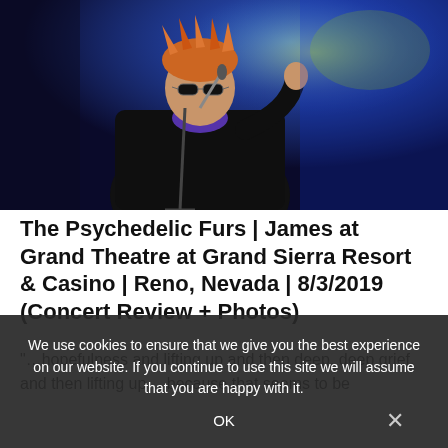[Figure (photo): Concert photo of a male performer with spiky blond hair and sunglasses, singing into a microphone against a blue/purple stage light backdrop]
The Psychedelic Furs | James at Grand Theatre at Grand Sierra Resort & Casino | Reno, Nevada | 8/3/2019 (Concert Review + Photos)
"…hopefulness and lifting up and then deep, deep grief, and then lifting up… because that seems to be the booth of James." James is headlining a tour across North America with The Psychedelic Furs this summer with one of their last stops in Reno at the Grand Theatre […]
We use cookies to ensure that we give you the best experience on our website. If you continue to use this site we will assume that you are happy with it.